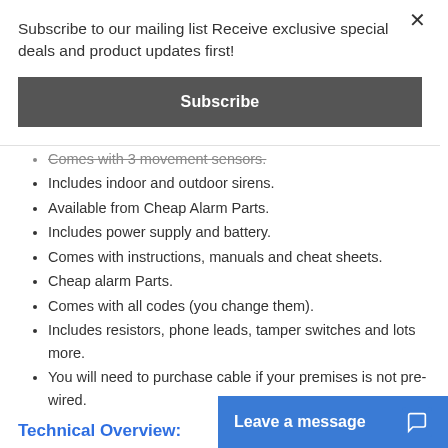Subscribe to our mailing list Receive exclusive special deals and product updates first!
Subscribe
Comes with 3 movement sensors.
Includes indoor and outdoor sirens.
Available from Cheap Alarm Parts.
Includes power supply and battery.
Comes with instructions, manuals and cheat sheets.
Cheap alarm Parts.
Comes with all codes (you change them).
Includes resistors, phone leads, tamper switches and lots more.
You will need to purchase cable if your premises is not pre-wired.
Technical Overview:
16 On-board Zones (Wired or wireless).
1000 Users.
Partionable to 8 A...
Leave a message